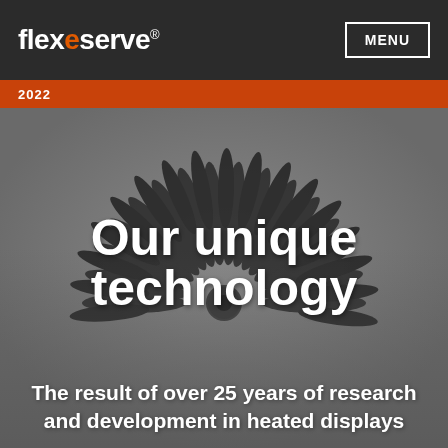flexeserve® MENU 2022
[Figure (photo): Circular fan-like metal component with radiating blades arranged in a semicircle, photographed against a grey background]
Our unique technology
The result of over 25 years of research and development in heated displays